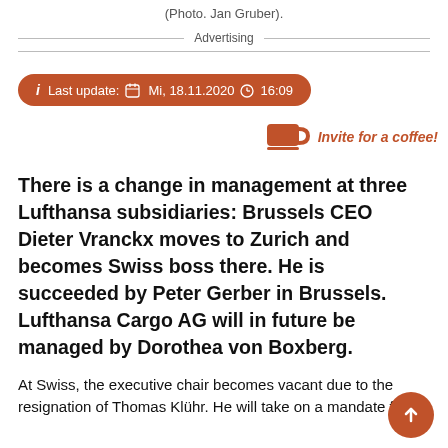(Photo. Jan Gruber).
Advertising
Last update: Mi, 18.11.2020 16:09
[Figure (illustration): Coffee cup icon with text 'Invite for a coffee!']
There is a change in management at three Lufthansa subsidiaries: Brussels CEO Dieter Vranckx moves to Zurich and becomes Swiss boss there. He is succeeded by Peter Gerber in Brussels. Lufthansa Cargo AG will in future be managed by Dorothea von Boxberg.
At Swiss, the executive chair becomes vacant due to the resignation of Thomas Klühr. He will take on a mandate for